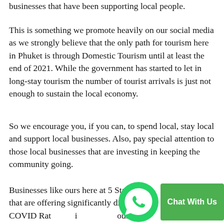businesses that have been supporting local people.
This is something we promote heavily on our social media as we strongly believe that the only path for tourism here in Phuket is through Domestic Tourism until at least the end of 2021. While the government has started to let in long-stay tourism the number of tourist arrivals is just not enough to sustain the local economy.
So we encourage you, if you can, to spend local, stay local and support local businesses. Also, pay special attention to those local businesses that are investing in keeping the community going.
Businesses like ours here at 5 Star Ma... that are offering significantly discounted COVID Rat... si... ours that are making regular comm...ations, and businesses like ours that are taking the time to promote and
[Figure (other): WhatsApp chat button overlay with green WhatsApp logo icon and green 'Chat With Us' button]